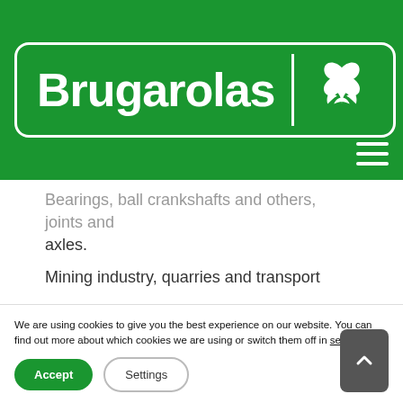[Figure (logo): Brugarolas company logo on green background with bird icon and hamburger menu]
Bearings, ball crankshafts and others, joints and axles.
Mining industry, quarries and transport
Product
Thickeners and others
We are using cookies to give you the best experience on our website. You can find out more about which cookies we are using or switch them off in settings.